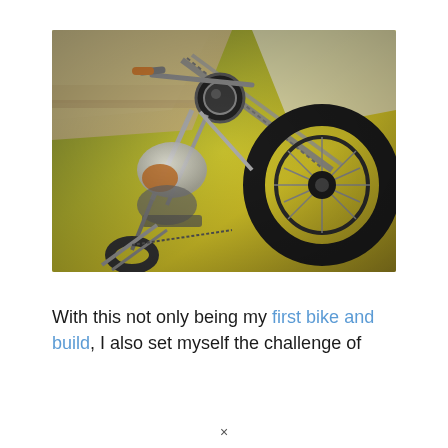[Figure (photo): A custom chopper-style bicycle or motorcycle viewed from above at an angle, lying on a yellow-green carpet/surface. The bike has an extended front fork, a large black tire, chrome frame, and handlebar with headlight. Wooden boards/wall visible in the upper-left background.]
With this not only being my first bike and build, I also set myself the challenge of